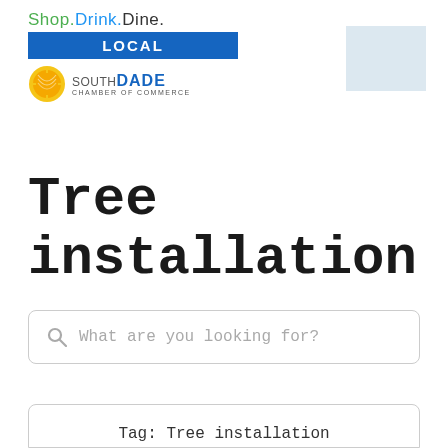[Figure (logo): Shop.Drink.Dine. LOCAL - South Dade Chamber of Commerce logo with sun icon]
[Figure (other): Light blue placeholder rectangle in top right corner]
Tree installation
What are you looking for?
Tag: Tree installation